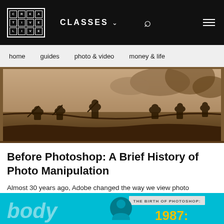CREA TIVE LIVE — CLASSES — Search — Menu
home   guides   photo & video   money & life
[Figure (photo): Sepia-toned historical photograph of soldiers in a trench during World War I, with smoke in the background.]
Before Photoshop: A Brief History of Photo Manipulation
Almost 30 years ago, Adobe changed the way we view photo manipulation with the release of Photoshop, a software that,...
[Figure (infographic): Teal/cyan infographic banner showing 'THE BIRTH OF PHOTOSHOP:' with the year 1987: in yellow text, and large stylized text on the left side.]